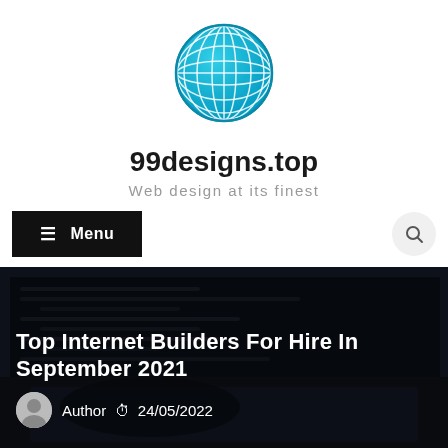[Figure (logo): Blue globe/world icon with grid lines, cyan/light-blue coloring]
99designs.top
Web design at its finest
≡ Menu
[Figure (photo): Dark hero image of hands typing on a laptop keyboard with code on screen, dimmed with dark overlay]
Top Internet Builders For Hire In September 2021
Author  🕐  24/05/2022